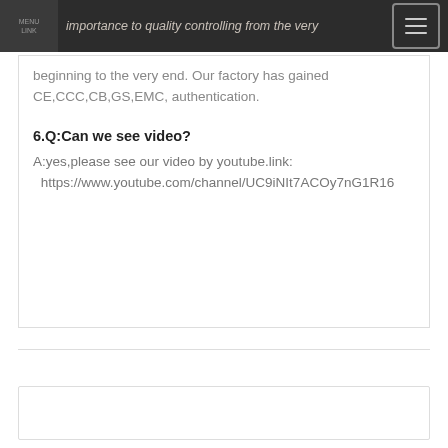importance to quality controlling from the very beginning to the very end. Our factory has gained CE,CCC,CB,GS,EMC, authentication.
6.Q:Can we see video?
A:yes,please see our video by youtube.link:
https://www.youtube.com/channel/UC9iNIt7ACOy7nG1R16